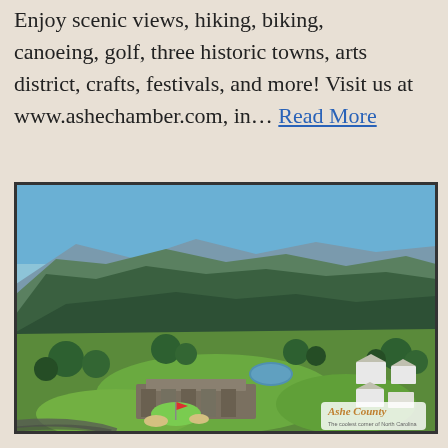Enjoy scenic views, hiking, biking, canoeing, golf, three historic towns, arts district, crafts, festivals, and more! Visit us at www.ashechamber.com, in… Read More
[Figure (photo): Aerial photograph of a mountain golf course and resort in Ashe County, North Carolina. Lush green fairways and trees fill the valley, with forested mountain ridges in the background under a clear blue sky. White resort buildings are visible on the right side. A small pond is visible in the middle distance. An 'Ashe County' watermark logo appears in the lower right corner.]